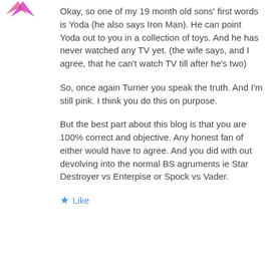[Figure (illustration): Purple and pink avatar icon in top left corner]
Okay, so one of my 19 month old sons' first words is Yoda (he also says Iron Man). He can point Yoda out to you in a collection of toys. And he has never watched any TV yet. (the wife says, and I agree, that he can't watch TV till after he's two)
So, once again Turner you speak the truth. And I'm still pink. I think you do this on purpose.
But the best part about this blog is that you are 100% correct and objective. Any honest fan of either would have to agree. And you did with out devolving into the normal BS agruments ie Star Destroyer vs Enterpise or Spock vs Vader.
Like